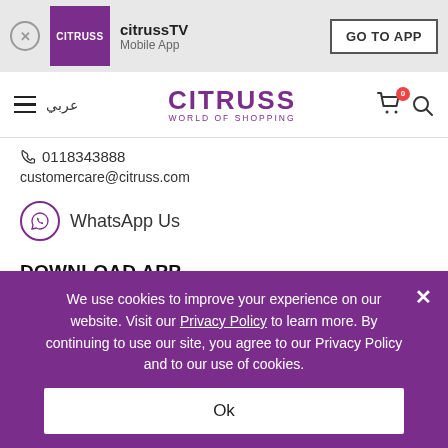[Figure (screenshot): Citruss app banner with purple logo, app name citrussTV, Mobile App label, and GO TO APP button]
CITRUSS WORLD OF SHOPPING
0118343888
customercare@citruss.com
WhatsApp Us
DOWNLOAD APP
Android
IOS
We use cookies to improve your experience on our website. Visit our Privacy Policy to learn more. By continuing to use our site, you agree to our Privacy Policy and to our use of cookies.
Ok